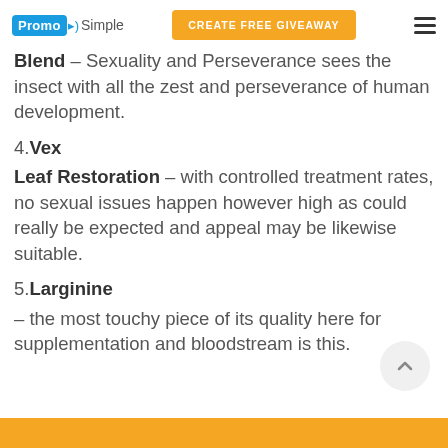PromoSimple | CREATE FREE GIVEAWAY
Blend – Sexuality and Perseverance sees the insect with all the zest and perseverance of human development.
4.Vex
Leaf Restoration – with controlled treatment rates, no sexual issues happen however high as could really be expected and appeal may be likewise suitable.
5.Larginine
– the most touchy piece of its quality here for supplementation and bloodstream is this.